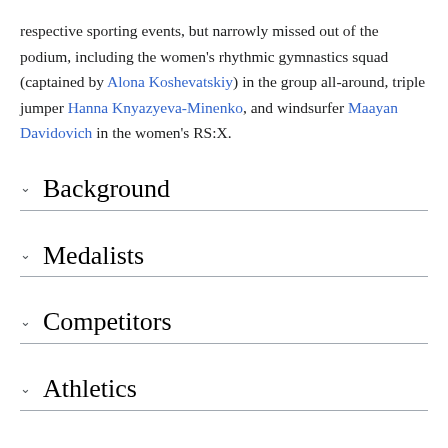respective sporting events, but narrowly missed out of the podium, including the women's rhythmic gymnastics squad (captained by Alona Koshevatskiy) in the group all-around, triple jumper Hanna Knyazyeva-Minenko, and windsurfer Maayan Davidovich in the women's RS:X.
Background
Medalists
Competitors
Athletics